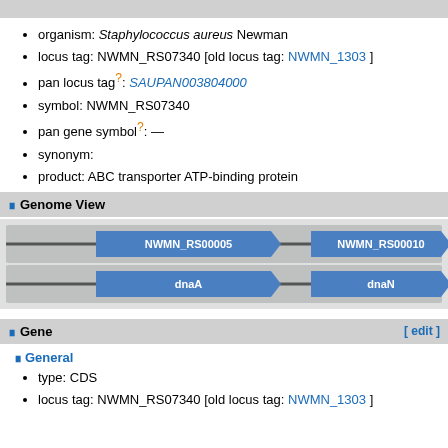organism: Staphylococcus aureus Newman
locus tag: NWMN_RS07340 [old locus tag: NWMN_1303 ]
pan locus tag?: SAUPAN003804000
symbol: NWMN_RS07340
pan gene symbol?: —
synonym:
product: ABC transporter ATP-binding protein
Genome View
[Figure (infographic): Genome view showing two tracks: top track with gene arrows NWMN_RS00005 and NWMN_RS00010, bottom track with gene arrows dnaA and dnaN]
Gene
General
type: CDS
locus tag: NWMN_RS07340 [old locus tag: NWMN_1303 ]